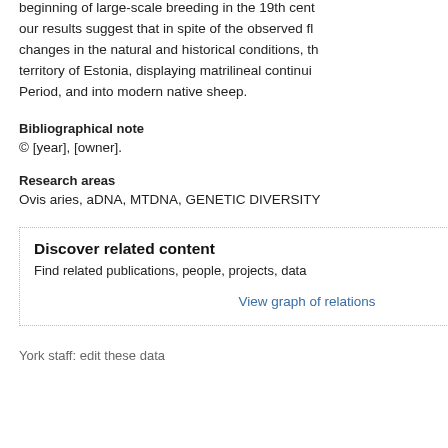beginning of large-scale breeding in the 19th cent... our results suggest that in spite of the observed fl... changes in the natural and historical conditions, th... territory of Estonia, displaying matrilineal continui... Period, and into modern native sheep.
Bibliographical note
© [year], [owner].
Research areas
Ovis aries, aDNA, MTDNA, GENETIC DIVERSITY
Discover related content
Find related publications, people, projects, data...
View graph of relations
York staff: edit these data